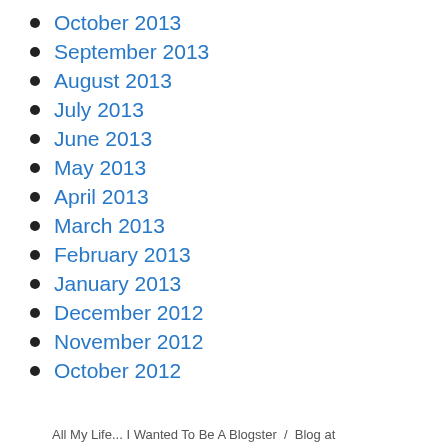October 2013
September 2013
August 2013
July 2013
June 2013
May 2013
April 2013
March 2013
February 2013
January 2013
December 2012
November 2012
October 2012
All My Life... I Wanted To Be A Blogster  /  Blog at